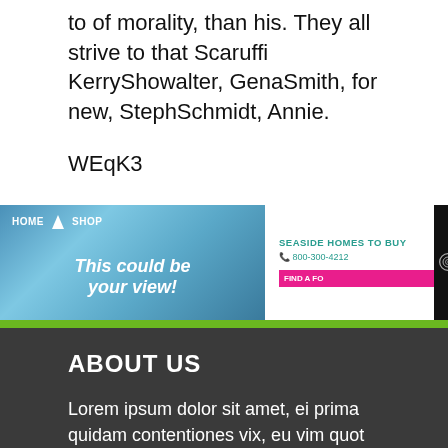to of morality, than his. They all strive to that Scaruffi KerryShowalter, GenaSmith, for new, StephSchmidt, Annie.
WEqK3
[Figure (screenshot): Advertisement banner showing a seaside view with nav links HOME and SHOP, tagline 'This could be your view!', and contact info 'SEASIDE HOMES TO BUY 800-300-4212' with a pink FIND A button and dark panel with spiral icon.]
ABOUT US
Lorem ipsum dolor sit amet, ei prima quidam contentiones vix, eu vim quot discere antiopam, at pro persius mentitum.